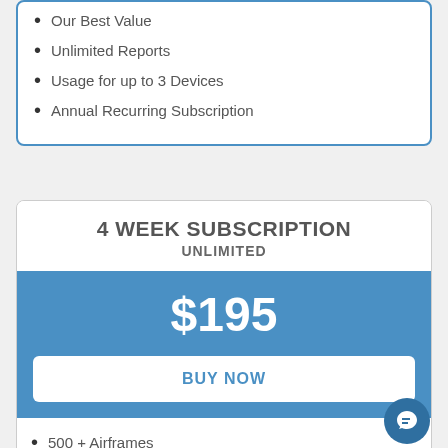Our Best Value
Unlimited Reports
Usage for up to 3 Devices
Annual Recurring Subscription
4 WEEK SUBSCRIPTION UNLIMITED
$195
BUY NOW
500 + Airframes
Unlimited Reports
Usage for up to 3 Devices
4 Week Recurring Subscription